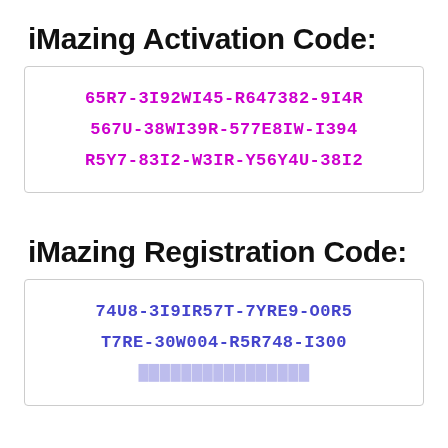iMazing Activation Code:
65R7-3I92WI45-R647382-9I4R
567U-38WI39R-577E8IW-I394
R5Y7-83I2-W3IR-Y56Y4U-38I2
iMazing Registration Code:
74U8-3I9IR57T-7YRE9-O0R5
T7RE-30W004-R5R748-I300